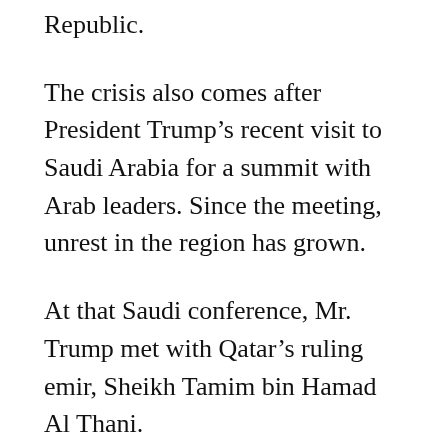Republic.
The crisis also comes after President Trump’s recent visit to Saudi Arabia for a summit with Arab leaders. Since the meeting, unrest in the region has grown.
At that Saudi conference, Mr. Trump met with Qatar’s ruling emir, Sheikh Tamim bin Hamad Al Thani.
“We are friends, we’ve been friends now for a long time, haven’t we?” Trump asked at the meeting. “Our relationship is extremely good.”